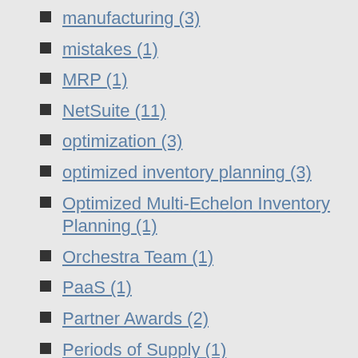manufacturing (3)
mistakes (1)
MRP (1)
NetSuite (11)
optimization (3)
optimized inventory planning (3)
Optimized Multi-Echelon Inventory Planning (1)
Orchestra Team (1)
PaaS (1)
Partner Awards (2)
Periods of Supply (1)
reorder quantity (1)
replenishment planning (10)
reports (1)